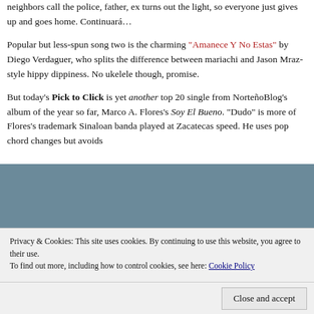neighbors call the police, father, ex turns out the light, so everyone just gives up and goes home. Continuará…
Popular but less-spun song two is the charming "Amanece Y No Estas" by Diego Verdaguer, who splits the difference between mariachi and Jason Mraz-style hippy dippiness. No ukelele though, promise.
But today's Pick to Click is yet another top 20 single from NorteñoBlog's album of the year so far, Marco A. Flores's Soy El Bueno. "Dudo" is more of Flores's trademark Sinaloan banda played at Zacatecas speed. He uses pop chord changes but avoids
Privacy & Cookies: This site uses cookies. By continuing to use this website, you agree to their use.
To find out more, including how to control cookies, see here: Cookie Policy
Close and accept